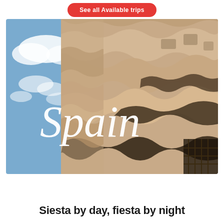See all Available trips
[Figure (photo): Upward-angle photograph of Casa Milà (La Pedrera) by Antoni Gaudí in Barcelona, Spain. The wavy stone facade with ironwork balconies fills the right side; blue sky with white clouds on the left. A large cursive white 'Spain' text overlaid in the center of the image.]
Siesta by day, fiesta by night